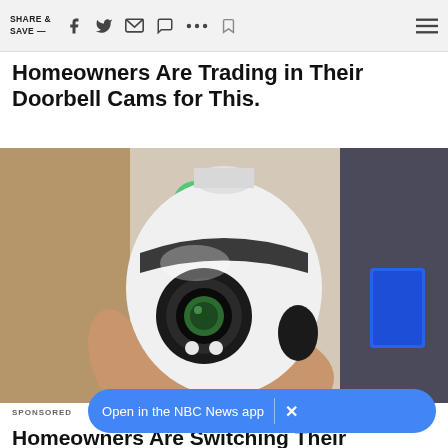SHARE & SAVE —
Homeowners Are Trading in Their Doorbell Cams for This.
[Figure (photo): A hand holding a white bulb-shaped security camera with a visible lens, green lights in the background and a blue product box to the right]
SPONSORED
Homeowners Are Switching Their Doorbell